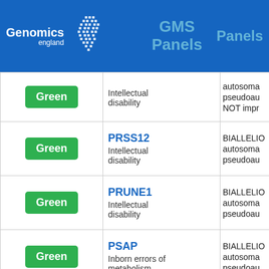Genomics England GMS Panels Panels
| Rating | Gene / Panel | Mode |
| --- | --- | --- |
| Green | Intellectual disability | autosomal pseudoau... NOT impr... |
| Green | PRSS12
Intellectual disability | BIALLELIC autosomal pseudoau... |
| Green | PRUNE1
Intellectual disability | BIALLELIC autosomal pseudoau... |
| Green | PSAP
Inborn errors of metabolism | BIALLELIC autosomal pseudoau... |
| Green | PSAP
Intellectual | BIALLELIC autosomal... |